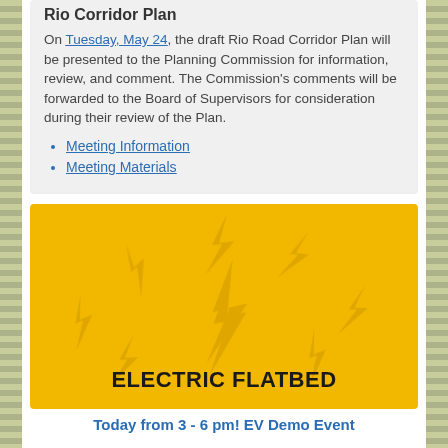Rio Corridor Plan
On Tuesday, May 24, the draft Rio Road Corridor Plan will be presented to the Planning Commission for information, review, and comment. The Commission's comments will be forwarded to the Board of Supervisors for consideration during their review of the Plan.
Meeting Information
Meeting Materials
[Figure (illustration): Yellow background with multiple lightning bolt symbols arranged in a radial pattern; text 'ELECTRIC FLATBED' in bold black at bottom]
Today from 3 - 6 pm! EV Demo Event